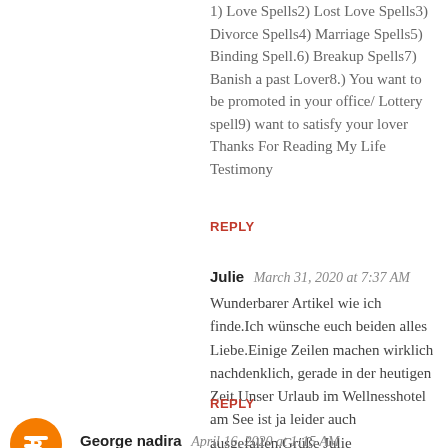1) Love Spells2) Lost Love Spells3) Divorce Spells4) Marriage Spells5) Binding Spell.6) Breakup Spells7) Banish a past Lover8.) You want to be promoted in your office/ Lottery spell9) want to satisfy your lover
Thanks For Reading My Life Testimony
REPLY
Julie  March 31, 2020 at 7:37 AM
Wunderbarer Artikel wie ich finde.Ich wünsche euch beiden alles Liebe.Einige Zeilen machen wirklich nachdenklich, gerade in der heutigen Zeit.Unser Urlaub im Wellnesshotel am See ist ja leider auch ausgefallen.Grüße Julie
REPLY
George nadira  April 16, 2020 at 1:15 AM
My Name is Nadira from United States of America , I do hope my post gets read and hopefully helps somebody along the line. i will never forget the help the Dr,Tony temple render to me in my marital life. i have been married for 4 years now and my husband and i love each other very dearly. after 3 years of